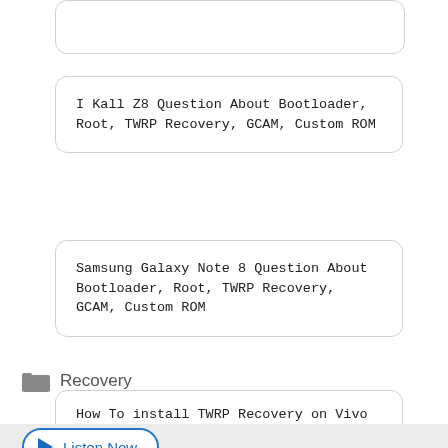[Figure (screenshot): Partial top card, mostly empty, clipped at top of page]
I Kall Z8 Question About Bootloader, Root, TWRP Recovery, GCAM, Custom ROM
Samsung Galaxy Note 8 Question About Bootloader, Root, TWRP Recovery, GCAM, Custom ROM
How To install TWRP Recovery on Vivo Y21T?
[Figure (other): Listen Now button with play icon, blue border, blue text]
Recovery